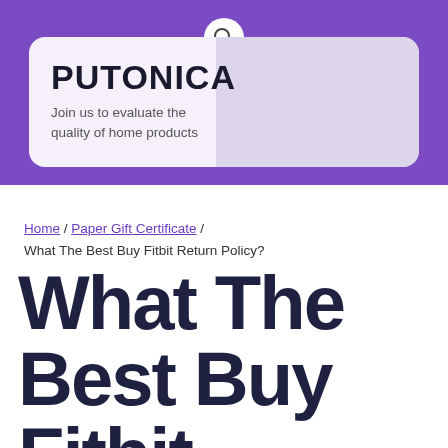PUTONICA — Join us to evaluate the quality of home products
Home / Paper Gift Certificate / What The Best Buy Fitbit Return Policy?
What The Best Buy Fitbit Return Policy?